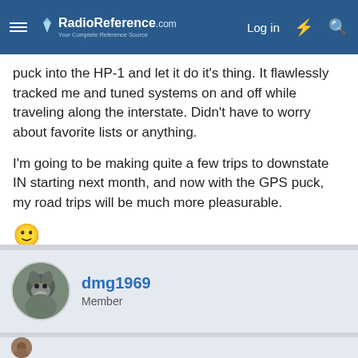RadioReference.com — Log in
puck into the HP-1 and let it do it's thing. It flawlessly tracked me and tuned systems on and off while traveling along the interstate. Didn't have to worry about favorite lists or anything.
I'm going to be making quite a few trips to downstate IN starting next month, and now with the GPS puck, my road trips will be much more pleasurable.
[Figure (illustration): Smiley face emoji]
dmg1969
Member
Jul 14, 2014
#2
Now you KNOW we're going to want to see pics! Glad you're happy with it.